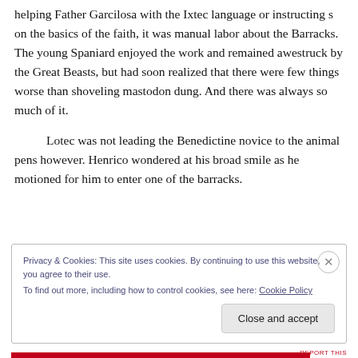helping Father Garcilosa with the Ixtec language or instructing s on the basics of the faith, it was manual labor about the Barracks. The young Spaniard enjoyed the work and remained awestruck by the Great Beasts, but had soon realized that there were few things worse than shoveling mastodon dung. And there was always so much of it.
Lotec was not leading the Benedictine novice to the animal pens however. Henrico wondered at his broad smile as he motioned for him to enter one of the barracks.
Privacy & Cookies: This site uses cookies. By continuing to use this website, you agree to their use.
To find out more, including how to control cookies, see here: Cookie Policy